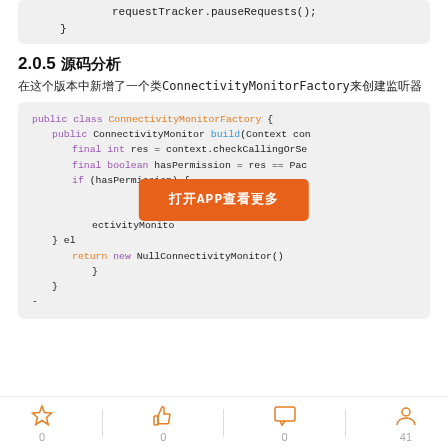[Figure (screenshot): Code snippet showing requestTracker.pauseRequests() and closing brace]
2.0.5 源码分析
在这个版本中新增了一个类ConnectivityMonitorFactory来创建监听器
[Figure (screenshot): Java code block showing ConnectivityMonitorFactory class with build method, permission check, and NullConnectivityMonitor return. Overlaid with orange button '打开APP查看更多'.]
0  0  0  41